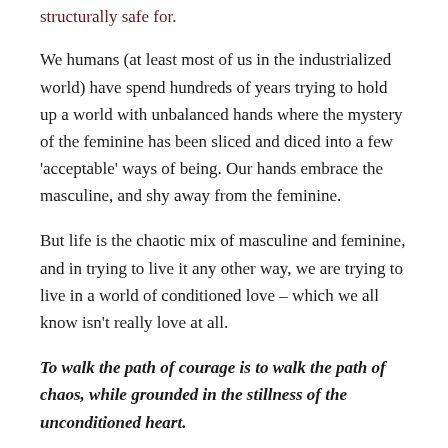structurally safe for.
We humans (at least most of us in the industrialized world) have spend hundreds of years trying to hold up a world with unbalanced hands where the mystery of the feminine has been sliced and diced into a few 'acceptable' ways of being. Our hands embrace the masculine, and shy away from the feminine.
But life is the chaotic mix of masculine and feminine, and in trying to live it any other way, we are trying to live in a world of conditioned love – which we all know isn't really love at all.
To walk the path of courage is to walk the path of chaos, while grounded in the stillness of the unconditioned heart.
As I sat this morning sipping my tea and feeling just how